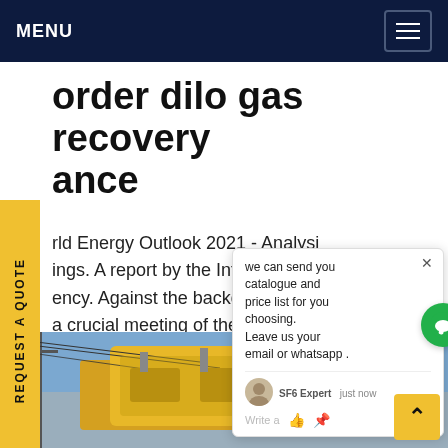MENU
order dilo gas recovery ance
rld Energy Outlook 2021 - Analysi ings. A report by the Internation ency. Against the backdrop of tu ke a crucial meeting of the CO26 on ate change in Glasgow, the 2021 gy look (WEOGet price
[Figure (screenshot): Chat popup overlay showing message: 'we can send you catalogue and price list for you choosing. Leave us your email or whatsapp .' with SF6 Expert avatar, 'just now' timestamp, and write/send controls. Green chat bubble button with notification badge showing 1.]
[Figure (photo): Outdoor photo of yellow industrial gas recovery equipment (DILO) with electrical pylons/wires against a blue sky.]